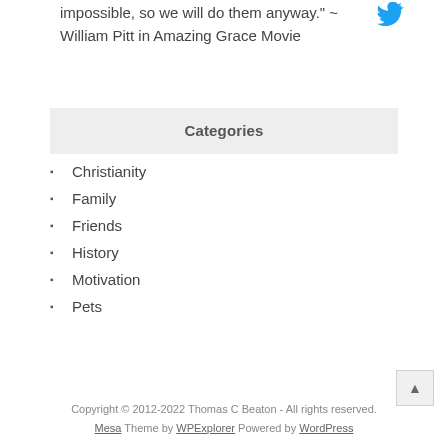impossible, so we will do them anyway." ~ William Pitt in Amazing Grace Movie
Categories
Christianity
Family
Friends
History
Motivation
Pets
Copyright © 2012-2022 Thomas C Beaton - All rights reserved. Mesa Theme by WPExplorer Powered by WordPress